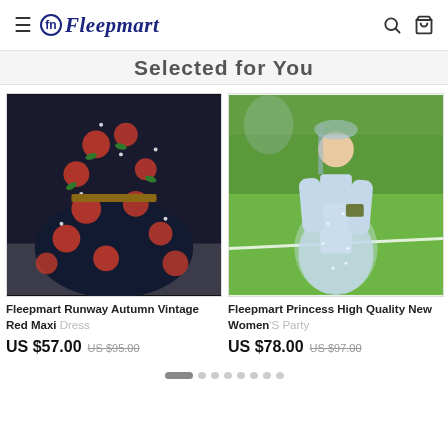Fleepmart
Selected for You
[Figure (photo): Fleepmart product photo: dark navy/black dress with red rose print pattern and pearl embellishments, long sleeves, maxi length, displayed flat on a surface]
Fleepmart Runway Autumn Vintage Red Maxi Dress
US $57.00  US $95.00
[Figure (photo): Fleepmart product photo: woman wearing a light blue/grey sparkly tulle princess gown with sheer overlay, standing outdoors on grass]
Fleepmart Princess High Quality New Women'S Party
US $78.00  US $97.00